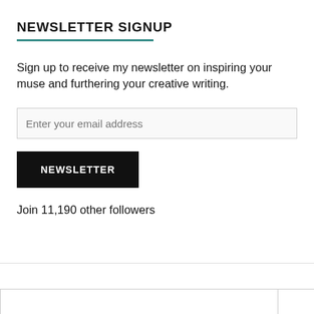NEWSLETTER SIGNUP
Sign up to receive my newsletter on inspiring your muse and furthering your creative writing.
Enter your email address
NEWSLETTER
Join 11,190 other followers